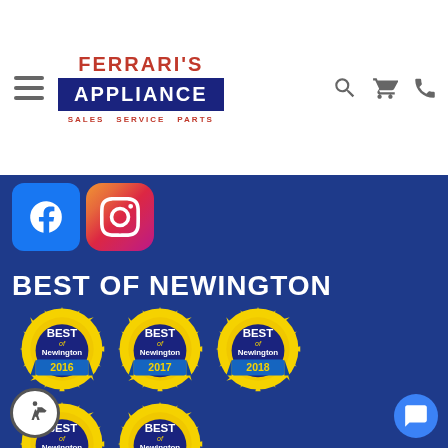[Figure (logo): Ferrari's Appliance logo with Sales Service Parts tagline]
[Figure (illustration): Facebook and Instagram social media icons]
BEST OF NEWINGTON
[Figure (illustration): Best of Newington award badges for 2016, 2017, 2018, 2019, 2020]